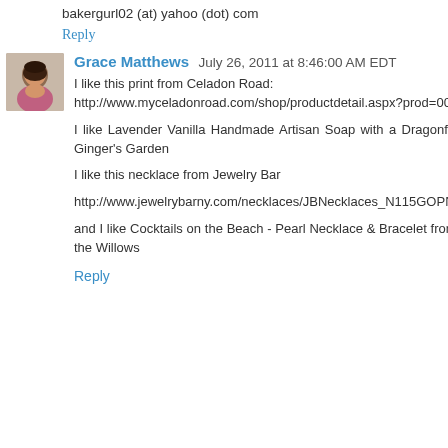bakergurl02 (at) yahoo (dot) com
Reply
Grace Matthews  July 26, 2011 at 8:46:00 AM EDT
I like this print from Celadon Road: http://www.myceladonroad.com/shop/productdetail.aspx?prod=002-011
I like Lavender Vanilla Handmade Artisan Soap with a Dragonfly from Ginger's Garden
I like this necklace from Jewelry Bar
http://www.jewelrybarny.com/necklaces/JBNecklaces_N115GOPNK.htm
and I like Cocktails on the Beach - Pearl Necklace & Bracelet from Near the Willows
Reply